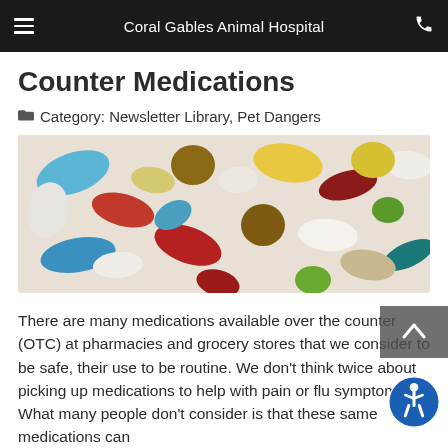Coral Gables Animal Hospital
Counter Medications
Category: Newsletter Library, Pet Dangers
[Figure (photo): Close-up photo of assorted colorful pills and capsules including red, blue, green, yellow, white, and brown tablets scattered together]
There are many medications available over the counter (OTC) at pharmacies and grocery stores that we consider to be safe, their use to be routine. We don't think twice about picking up medications to help with pain or flu symptoms. What many people don't consider is that these same medications can
READ MORE